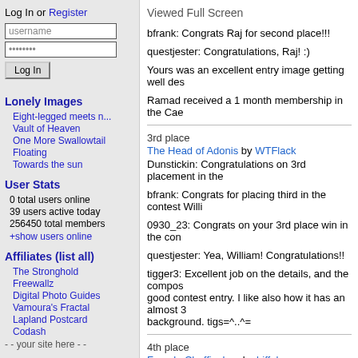Log In or Register
username
password
Log In
Lonely Images
Eight-legged meets n...
Vault of Heaven
One More Swallowtail
Floating
Towards the sun
User Stats
0 total users online
39 users active today
256450 total members
+show users online
Affiliates (list all)
The Stronghold
Freewallz
Digital Photo Guides
Vamoura's Fractal
Lapland Postcard
Codash
- - your site here - -
Viewed Full Screen
bfrank: Congrats Raj for second place!!!
questjester: Congratulations, Raj! :)
Yours was an excellent entry image getting well des
Ramad received a 1 month membership in the Cae
3rd place
The Head of Adonis by WTFlack
Dunstickin: Congratulations on 3rd placement in the
bfrank: Congrats for placing third in the contest Willi
0930_23: Congrats on your 3rd place win in the con
questjester: Yea, William! Congratulations!!
tigger3: Excellent job on the details, and the compos good contest entry. I like also how it has an almost 3 background. tigs=^..^=
4th place
Female Chaffinch.... by biffobear
questjester: Congratulations, Richie! :)
icedancer: Fabulous shot of this adorable bird - like the eve